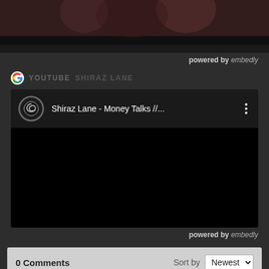[Figure (photo): Top cropped image strip showing people, partially visible at top of page]
powered by embedly
YOUTUBE   SHIRAZ LANE
[Figure (screenshot): YouTube embed showing Shiraz Lane channel icon and video title 'Shiraz Lane - Money Talks //...' with three-dot menu and black video area below]
powered by embedly
0 Comments   Sort by Newest